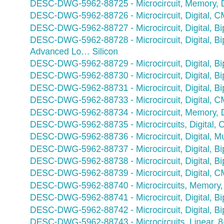DESC-DWG-5962-88725 - Microcircuit, Memory, Digital, CMOS 25…
DESC-DWG-5962-88726 - Microcircuit, Digital, CMOS, Ultraviolet E…
DESC-DWG-5962-88727 - Microcircuit, Digital, Bipolar, Advanced Lo…
DESC-DWG-5962-88728 - Microcircuit, Digital, Bipolar, Advanced Lo… Silicon
DESC-DWG-5962-88729 - Microcircuit, Digital, Bipolar, Advanced S…
DESC-DWG-5962-88730 - Microcircuit, Digital, Bipolar, Advanced S…
DESC-DWG-5962-88731 - Microcircuit, Digital, Bipolar, Advanced S…
DESC-DWG-5962-88733 - Microcircuit, Digital, CMOS, 16 x 16 Bit M…
DESC-DWG-5962-88734 - Microcircuit, Memory, Digital, CMOS, 2K…
DESC-DWG-5962-88735 - Microcircuits, Digital, CMOS 2K x 8 One…
DESC-DWG-5962-88736 - Microcircuit, Digital, Multilevel Pipeline R…
DESC-DWG-5962-88737 - Microcircuit, Digital, Bipolar, Advanced Lo…
DESC-DWG-5962-88738 - Microcircuit, Digital, Bipolar, Advanced Lo…
DESC-DWG-5962-88739 - Microcircuit, Digital, CMOS, 8 x 8 Multipli…
DESC-DWG-5962-88740 - Microcircuits, Memory, Digital, CMOS 2K…
DESC-DWG-5962-88741 - Microcircuit, Digital, Bipolar, Advanced Lo…
DESC-DWG-5962-88742 - Microcircuit, Digital, Bipolar, Advanced Lo…
DESC-DWG-5962-88743 - Microcircuits, Linear, 8-Bit CMOS Flash A…
DESC-DWG-5962-88744 - Microcircuit, Linear, Dual Differential Line…
DESC-DWG-5962-88745 - Microcircuit, Linear, Dual, Differential Line…
DESC-DWG-5962-88746 - Microcircuit, Linear, 5 Volt Negative Regu…
DESC-DWG-5962-88747 - Microcircuit, Linear, 12 Volt Negative Reg…
DESC-DWG-5962-88748 - Microcircuit, Linear, 15 Volt Negative…